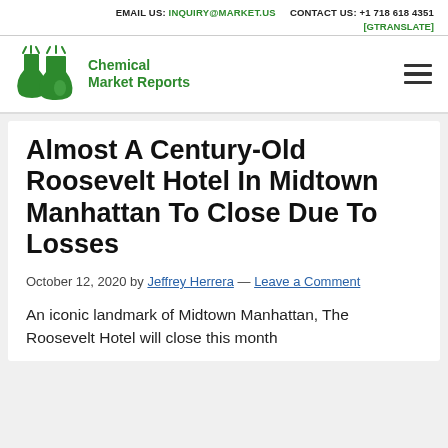EMAIL US: INQUIRY@MARKET.US   CONTACT US: +1 718 618 4351
[GTRANSLATE]
[Figure (logo): Chemical Market Reports logo — green flasks with steam and green text reading 'Chemical Market Reports']
Almost A Century-Old Roosevelt Hotel In Midtown Manhattan To Close Due To Losses
October 12, 2020 by Jeffrey Herrera — Leave a Comment
An iconic landmark of Midtown Manhattan, The Roosevelt Hotel will close this month